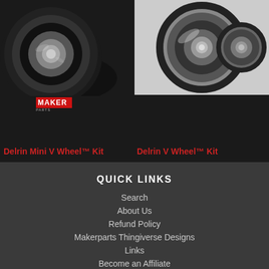[Figure (photo): Dark background photo of a Delrin Mini V Wheel Kit showing wheel with bearings on black background, with Maker Parts logo below]
Delrin Mini V Wheel™ Kit
[Figure (photo): Photo of a Delrin V Wheel Kit showing wheel with bearings on white/grey background]
Delrin V Wheel™ Kit
QUICK LINKS
Search
About Us
Refund Policy
Makerparts Thingiverse Designs
Links
Become an Affiliate
Terms of Service
Refund policy